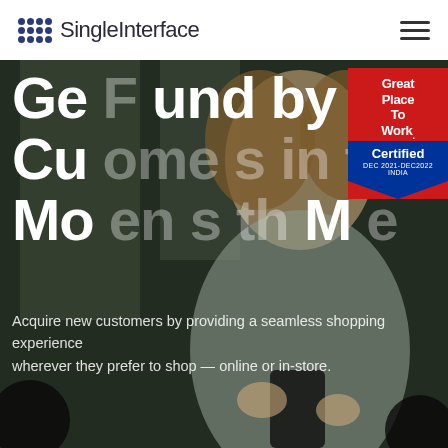SingleInterface
Get Found by Customers in the Moment
Acquire new customers by providing a seamless shopping experience wherever they prefer to shop — online or in-store.
[Figure (logo): Great Place To Work Certified DEC 2021-DEC2022 INDIA badge]
Request Demo